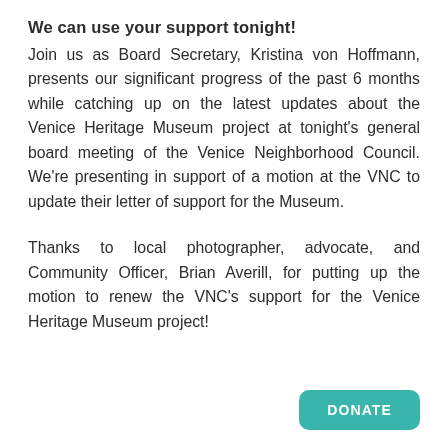We can use your support tonight!
Join us as Board Secretary, Kristina von Hoffmann, presents our significant progress of the past 6 months while catching up on the latest updates about the Venice Heritage Museum project at tonight's general board meeting of the Venice Neighborhood Council. We're presenting in support of a motion at the VNC to update their letter of support for the Museum.
Thanks to local photographer, advocate, and Community Officer, Brian Averill, for putting up the motion to renew the VNC's support for the Venice Heritage Museum project!